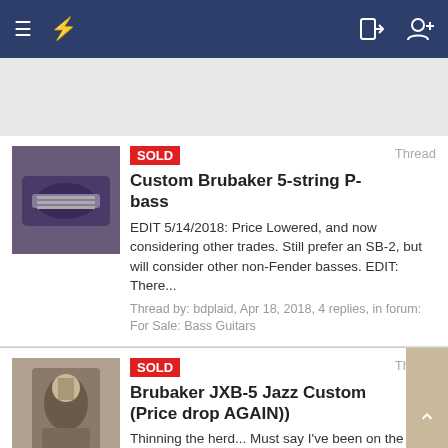Navigation bar with menu, bolt icon, login and add user icons
[Figure (screenshot): Thumbnail image of a bass guitar being played]
SOLD Custom Brubaker 5-string P-bass Thread
EDIT 5/14/2018: Price Lowered, and now considering other trades. Still prefer an SB-2, but will consider other non-Fender basses. EDIT: There...
Thread by: bdplaid, Apr 18, 2018, 4 replies, in forum: For Sale: Bass Guitars
[Figure (screenshot): Thumbnail image of a person holding a bass guitar]
SOLD Brubaker JXB-5 Jazz Custom (Price drop AGAIN)) Thread
Thinning the herd... Must say I've been on the fence with this bass for a while since it has that compressed Bart/Bart jazz tone that none of my...
Thread by: CactusmanDoug, Mar 31, 2018, 26 replies, in forum: For Sale: Bass Guitars